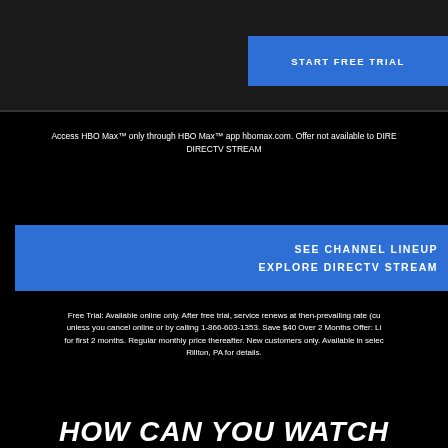[Figure (other): START FREE TRIAL button, blue background, white uppercase text]
Access HBO Max™ only through HBO Max™ app hbomax.com. Offer not available to DIRE... DIRECTV STREAM
[Figure (other): Blue panel with SEE CHANNEL LINEUP and EXPLORE DIRECTV STREAM links]
Free Trial: Available online only. After free trial, service renews at then-prevailing rate (cu... unless you cancel online or by calling 1-866-603-1353. Save $40 Over 2 Months Offer: Li... for first 2 months. Regular monthly price thereafter. New customers only. Available in selec... Rillton, PA for details.
HOW CAN YOU WATCH